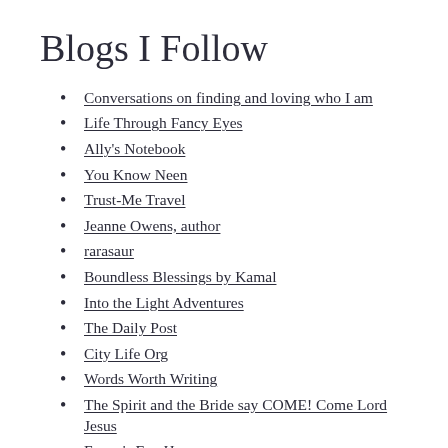Blogs I Follow
Conversations on finding and loving who I am
Life Through Fancy Eyes
Ally's Notebook
You Know Neen
Trust-Me Travel
Jeanne Owens, author
rarasaur
Boundless Blessings by Kamal
Into the Light Adventures
The Daily Post
City Life Org
Words Worth Writing
The Spirit and the Bride say COME! Come Lord Jesus
Fraser's Fun House